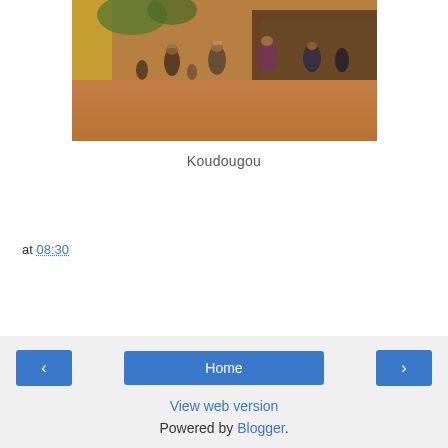[Figure (photo): Street scene in Koudougou with people walking and carrying items on their heads near a train, orange/red dirt ground]
Koudougou
at 08:30
Share
‹
Home
›
View web version
Powered by Blogger.